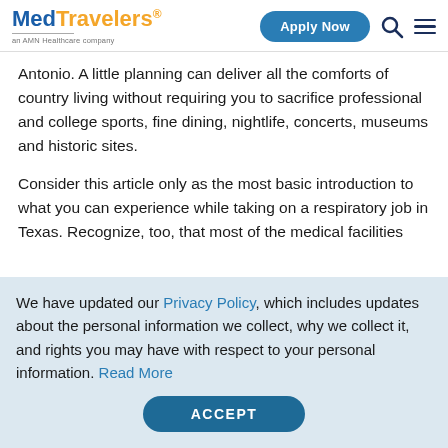[Figure (logo): MedTravelers logo with 'an AMN Healthcare company' tagline, Apply Now button, search icon, and hamburger menu]
Antonio. A little planning can deliver all the comforts of country living without requiring you to sacrifice professional and college sports, fine dining, nightlife, concerts, museums and historic sites.
Consider this article only as the most basic introduction to what you can experience while taking on a respiratory job in Texas. Recognize, too, that most of the medical facilities listed have more than one
We have updated our Privacy Policy, which includes updates about the personal information we collect, why we collect it, and rights you may have with respect to your personal information. Read More
ACCEPT